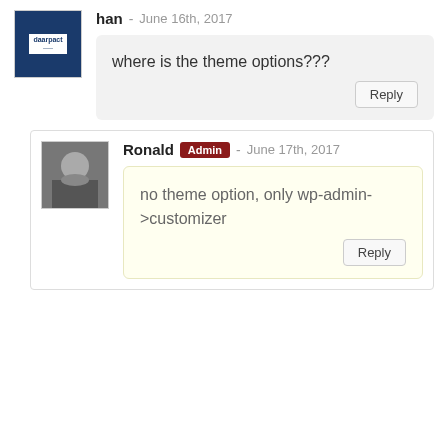han - June 16th, 2017
where is the theme options???
Ronald Admin - June 17th, 2017
no theme option, only wp-admin->customizer